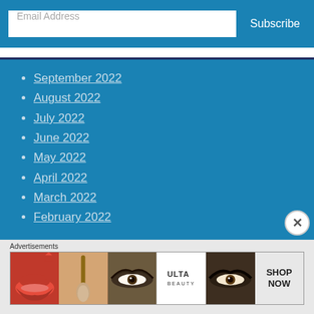Email Address
Subscribe
September 2022
August 2022
July 2022
June 2022
May 2022
April 2022
March 2022
February 2022
[Figure (illustration): Ulta Beauty advertisement banner with makeup imagery including lips, brush, eyes, Ulta logo, and Shop Now call to action]
Advertisements